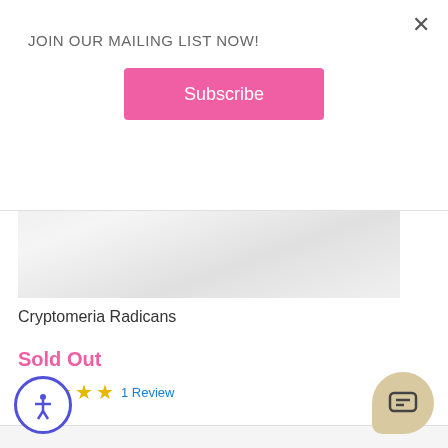×
JOIN OUR MAILING LIST NOW!
Subscribe
[Figure (photo): Partially visible product image of Cryptomeria Radicans plant, light grey/white tones]
Cryptomeria Radicans
Sold Out
1 Review